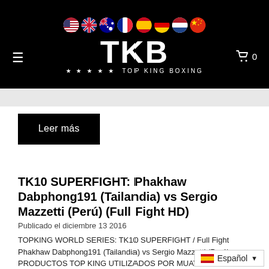[Figure (screenshot): Top King Boxing website header with black background, country flag circles (USA, UK, Australia, France, Spain, Germany, Netherlands, China), TKB logo in white bold letters, hamburger menu icon on left, cart icon with 0 on right, and stars with TOP KING BOXING tagline]
Leer más
TK10 SUPERFIGHT: Phakhaw Dabphong191 (Tailandia) vs Sergio Mazzetti (Perú) (Full Fight HD)
Publicado el diciembre 13 2016
TOPKING WORLD SERIES: TK10 SUPERFIGHT / Full Fight Phakhaw Dabphong191 (Tailandia) vs Sergio Mazzetti (Perú) PRODUCTOS TOP KING UTILIZADOS POR MUAY THAI CHAMPIONS
Español